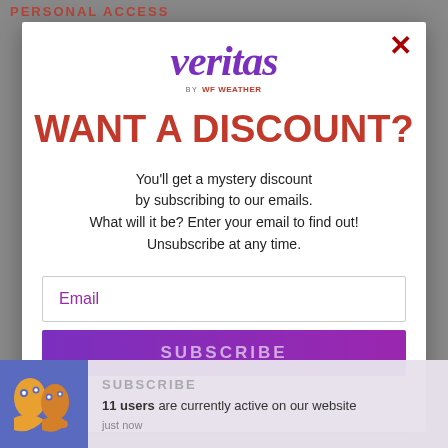PERSONAL ACCESS
[Figure (logo): Veritas by Weatherford Fit logo — 'veritas' in large purple italic serif font, with 'BY WEATHERFORDIT' in small text beneath with a Weatherford logo mark]
WANT A DISCOUNT?
You'll get a mystery discount by subscribing to our emails. What will it be? Enter your email to find out! Unsubscribe at any time.
Email
SUBSCRIBE
11 users are currently active on our website just now